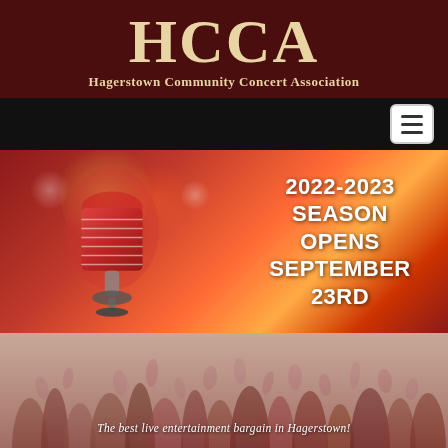HCCA
Hagerstown Community Concert Association
[Figure (screenshot): Navigation bar with hamburger menu button on dark background]
[Figure (photo): Concert scene with vintage microphone on stage with colorful lights in background, text overlay reading '2022-2023 SEASON OPENS SEPTEMBER 23RD']
2022-2023 SEASON OPENS SEPTEMBER 23RD
[Figure (photo): Crowd of people with hands raised at a concert]
The best live entertainment bargain in Hagerstown!